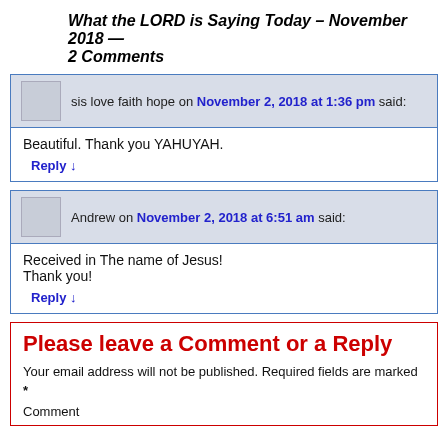What the LORD is Saying Today – November 2018 — 2 Comments
sis love faith hope on November 2, 2018 at 1:36 pm said:
Beautiful. Thank you YAHUYAH.
Reply ↓
Andrew on November 2, 2018 at 6:51 am said:
Received in The name of Jesus!
Thank you!
Reply ↓
Please leave a Comment or a Reply
Your email address will not be published. Required fields are marked *
Comment